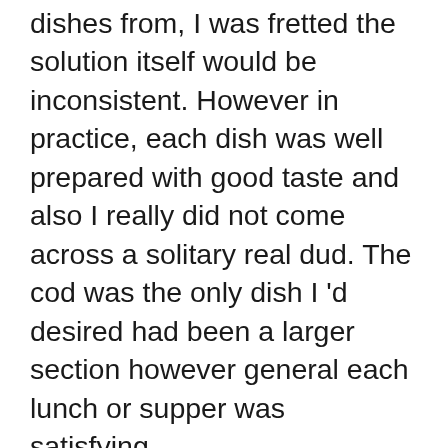dishes from, I was fretted the solution itself would be inconsistent. However in practice, each dish was well prepared with good taste and also I really did not come across a solitary real dud. The cod was the only dish I 'd desired had been a larger section however general each lunch or supper was satisfying.
The most amazing aspect of CookUnity is the large volume of dish alternatives you can select from, all stemming from cooks of various backgrounds, cooking styles as well as levels of popularity. As a bona fide dining establishment addict, I would certainly think of CookUnity not only as a tasty method to maintain myself fed without having to cook, however likewise as a fun means to discover new cook individualities and restaurants for